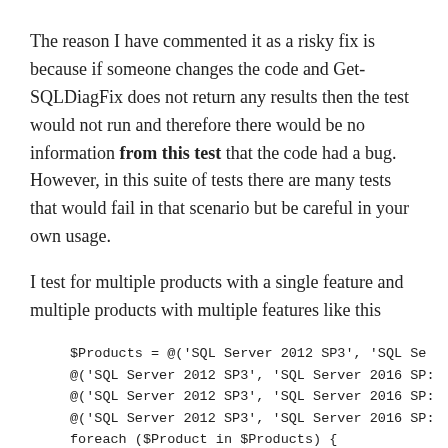The reason I have commented it as a risky fix is because if someone changes the code and Get-SQLDiagFix does not return any results then the test would not run and therefore there would be no information from this test that the code had a bug. However, in this suite of tests there are many tests that would fail in that scenario but be careful in your own usage.
I test for multiple products with a single feature and multiple products with multiple features like this
$Products = @('SQL Server 2012 SP3', 'SQL Se
    @('SQL Server 2012 SP3', 'SQL Server 2016 SP:
    @('SQL Server 2012 SP3', 'SQL Server 2016 SP:
    @('SQL Server 2012 SP3', 'SQL Server 2016 SP:
    foreach ($Product in $Products) {